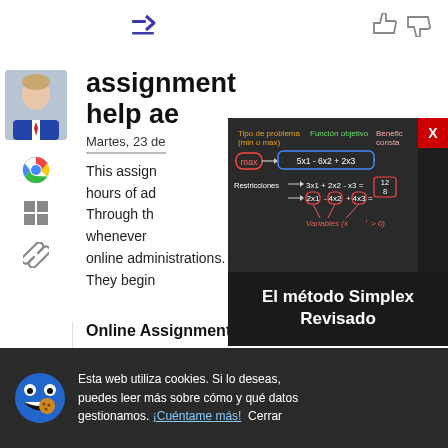[Figure (screenshot): Browser toolbar area with share icon (blue) and thumbs up/down icons]
[Figure (photo): User avatar photo showing a man in a suit]
[Figure (screenshot): Sidebar icons: Chrome logo, Windows logo, chain/link icon]
assignment help ae
Martes, 23 de
This assign... hours of ad... Through th... whenever... online administrations. They begin
[Figure (math-figure): Math overlay showing Simplex method linear programming problem: Tipo de problema (min o max), Función objetivo, Benefic consta. max 5x1 - 6x2 + 2x3, Restricciones: 3x1 + 2x2 - x3 = 12, 2x1 - 4x2 + 4x3 = 8, Variables (xi > 0)]
El método Simplex Revisado
Esta web utiliza cookies. Si lo deseas, puedes leer más sobre cómo y qué datos gestionamos. ¡Cuéntame más! Cerrar
Online Assignment Help